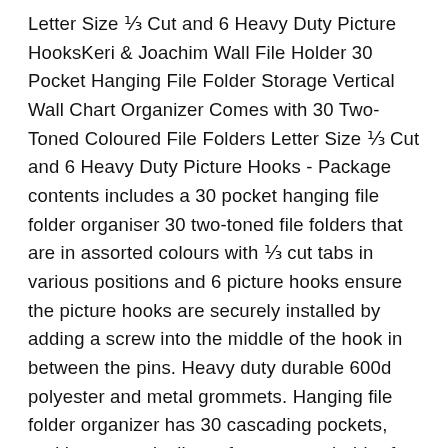Letter Size ⅓ Cut and 6 Heavy Duty Picture HooksKeri & Joachim Wall File Holder 30 Pocket Hanging File Folder Storage Vertical Wall Chart Organizer Comes with 30 Two-Toned Coloured File Folders Letter Size ⅓ Cut and 6 Heavy Duty Picture Hooks - Package contents includes a 30 pocket hanging file folder organiser 30 two-toned file folders that are in assorted colours with ⅓ cut tabs in various positions and 6 picture hooks ensure the picture hooks are securely installed by adding a screw into the middle of the hook in between the pins. Heavy duty durable 600d polyester and metal grommets. Hanging file folder organizer has 30 cascading pockets, and hangs vertically perfect storage holder for a4 or letter size paper and documents. Size of file folder organizer is width 106 cm, height 120 cm, pocket depth 16 cm, pocket width 33 cm two-toned file folders height 295 cm, width 24 cm. Easy to hang